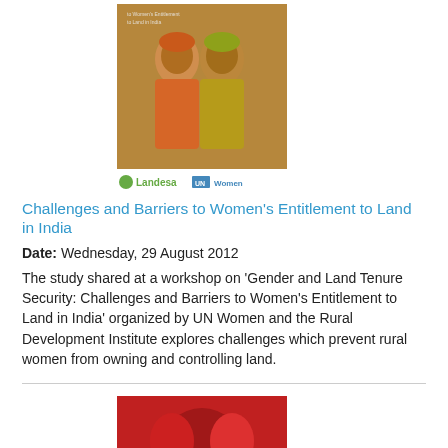[Figure (photo): Book cover for 'Challenges and Barriers to Women's Entitlement to Land in India' showing two women in colorful traditional dress, with Landesa and UN Women logos below]
Challenges and Barriers to Women's Entitlement to Land in India
Date: Wednesday, 29 August 2012
The study shared at a workshop on 'Gender and Land Tenure Security: Challenges and Barriers to Women's Entitlement to Land in India' organized by UN Women and the Rural Development Institute explores challenges which prevent rural women from owning and controlling land.
[Figure (photo): Book cover for 'Reduction of Violence Against Women: Property Ownership & Economic Independence in Rural Haryana' with a red background showing women]
Reduction of Violence Against Women: Property Ownership & Economic Independence in Rural Haryana